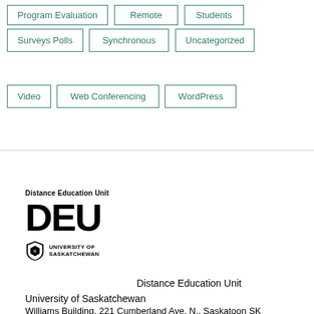Program Evaluation
Remote
Students
Surveys Polls
Synchronous
Uncategorized
Video
Web Conferencing
WordPress
[Figure (logo): Distance Education Unit (DEU) logo with University of Saskatchewan shield and wordmark]
Distance Education Unit
University of Saskatchewan
Williams Building, 221 Cumberland Ave. N., Saskatoon SK